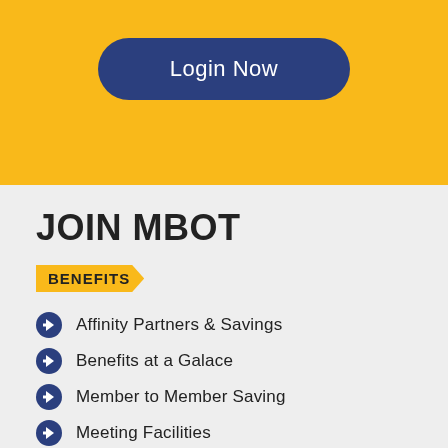[Figure (other): Yellow banner section with a dark navy blue rounded 'Login Now' button centered in it]
JOIN MBOT
BENEFITS
Affinity Partners & Savings
Benefits at a Galace
Member to Member Saving
Meeting Facilities
Member Directory